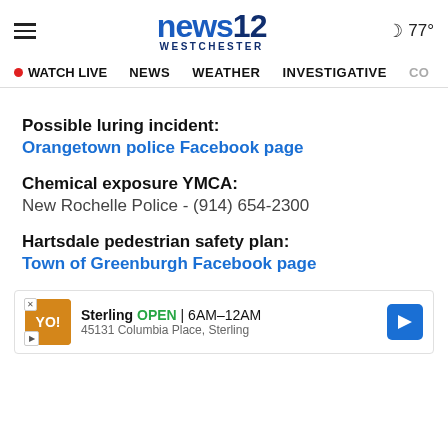news12 WESTCHESTER — 77°
WATCH LIVE  NEWS  WEATHER  INVESTIGATIVE  CO
Possible luring incident:
Orangetown police Facebook page
Chemical exposure YMCA:
New Rochelle Police - (914) 654-2300
Hartsdale pedestrian safety plan:
Town of Greenburgh Facebook page
[Figure (other): Advertisement banner for Sterling showing logo, OPEN 6AM-12AM, 45131 Columbia Place, Sterling with navigation arrow icon]